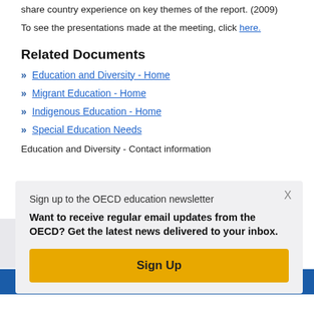share country experience on key themes of the report. (2009)
To see the presentations made at the meeting, click here.
Related Documents
Education and Diversity - Home
Migrant Education - Home
Indigenous Education - Home
Special Education Needs
Education and Diversity - Contact information
Sign up to the OECD education newsletter
Want to receive regular email updates from the OECD? Get the latest news delivered to your inbox.
Sign Up
Share